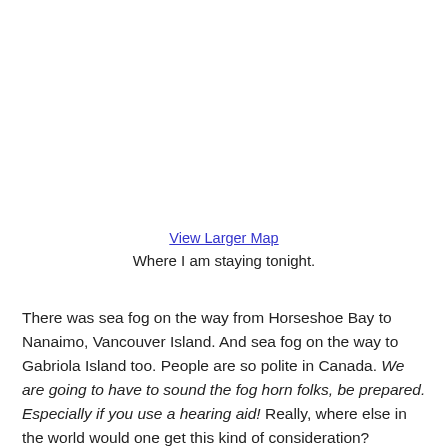View Larger Map
Where I am staying tonight.
There was sea fog on the way from Horseshoe Bay to Nanaimo, Vancouver Island. And sea fog on the way to Gabriola Island too. People are so polite in Canada. We are going to have to sound the fog horn folks, be prepared. Especially if you use a hearing aid! Really, where else in the world would one get this kind of consideration?